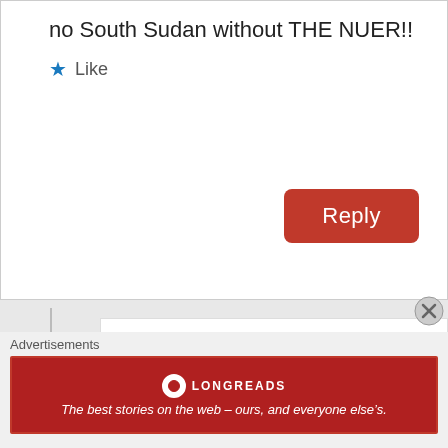no South Sudan without THE NUER!!
Like
Reply
GatNor
May 27, 2015 at 6:06 pm
“Adding Eritrea to the list of Eastern Nuer borders is an exaggeration” You are right Mr. Tut, after reading the article my first doubt was perhaps, this article was not written by a fellow Nuer. Other than that, I am ok with what the
Advertisements
LONGREADS
The best stories on the web – ours, and everyone else’s.